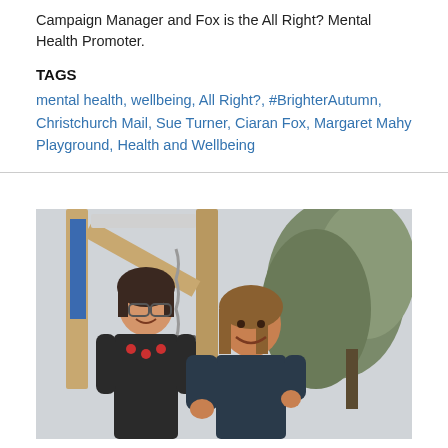Campaign Manager and Fox is the All Right? Mental Health Promoter.
TAGS
mental health, wellbeing, All Right?, #BrighterAutumn, Christchurch Mail, Sue Turner, Ciaran Fox, Margaret Mahy Playground, Health and Wellbeing
[Figure (photo): Two people smiling at a playground structure. A woman with glasses and a red necklace on the left, a man with long hair on the right, both holding a bucket with a chain. Wooden playground equipment with blue accents visible. Trees in the background.]